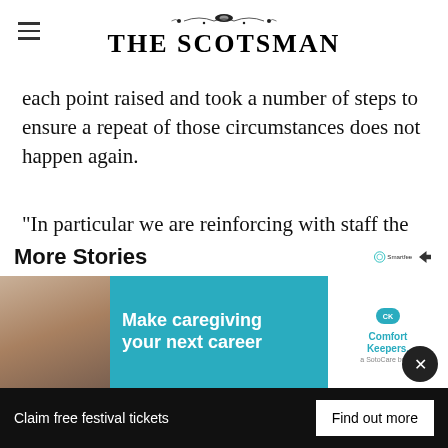THE SCOTSMAN
each point raised and took a number of steps to ensure a repeat of those circumstances does not happen again.
“In particular we are reinforcing with staff the importance of communicating with the relatives of patients.”
[Figure (infographic): Social share icons: Facebook, Twitter, WhatsApp, Email - circular teal outlines]
More Stories
[Figure (photo): Advertisement banner: Make caregiving your next career - Comfort Keepers]
Claim free festival tickets
Find out more